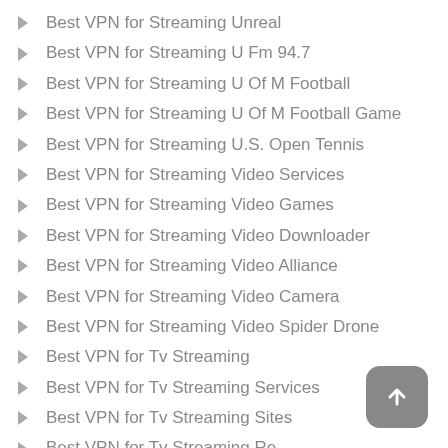Best VPN for Streaming Unreal
Best VPN for Streaming U Fm 94.7
Best VPN for Streaming U Of M Football
Best VPN for Streaming U Of M Football Game
Best VPN for Streaming U.S. Open Tennis
Best VPN for Streaming Video Services
Best VPN for Streaming Video Games
Best VPN for Streaming Video Downloader
Best VPN for Streaming Video Alliance
Best VPN for Streaming Video Camera
Best VPN for Streaming Video Spider Drone
Best VPN for Tv Streaming
Best VPN for Tv Streaming Services
Best VPN for Tv Streaming Sites
Best VPN for Tv Streaming Re...